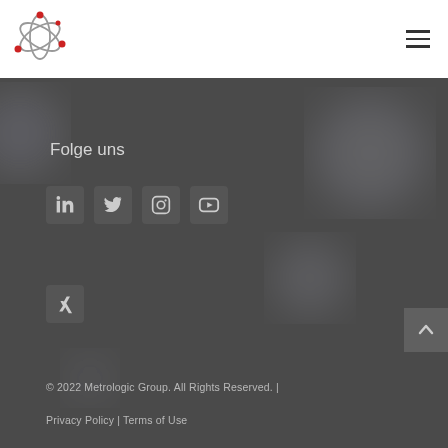[Figure (logo): Metrologic Group logo: atomic/orbital graphic with red dots and grey orbits, on white header background]
Folge uns
[Figure (infographic): Social media icons row 1: LinkedIn, Twitter, Instagram, YouTube — square grey buttons]
[Figure (infographic): Social media icons row 2: Xing — square grey button]
© 2022 Metrologic Group. All Rights Reserved.  |  Privacy Policy  |  Terms of Use